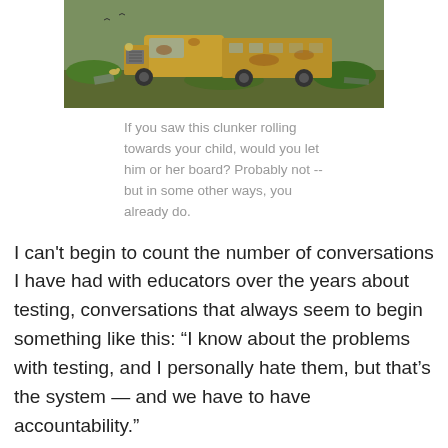[Figure (photo): A rusted, derelict old bus or truck in a junkyard surrounded by debris and overgrown vegetation]
If you saw this clunker rolling towards your child, would you let him or her board? Probably not -- but in some other ways, you already do.
I can't begin to count the number of conversations I have had with educators over the years about testing, conversations that always seem to begin something like this: “I know about the problems with testing, and I personally hate them, but that’s the system — and we have to have accountability.”
The superintendent of a big city system said that to me earlier this week with a slightly different twist: it's the public